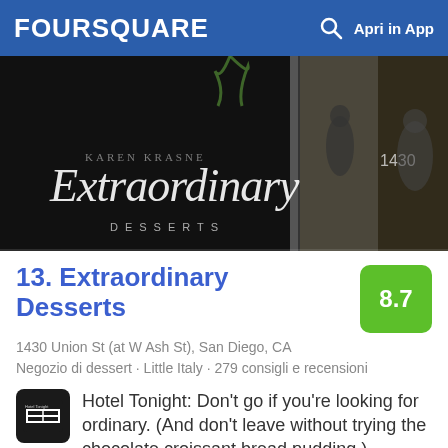FOURSQUARE  Apri in App
[Figure (photo): Exterior photo of Extraordinary Desserts restaurant storefront with cursive logo sign on dark background, number 1430 visible, people visible inside]
13. Extraordinary Desserts
1430 Union St (at W Ash St), San Diego, CA
Negozio di dessert · Little Italy · 279 consigli e recensioni
Hotel Tonight: Don't go if you're looking for ordinary. (And don't leave without trying the chocolate croissant bread pudding.)